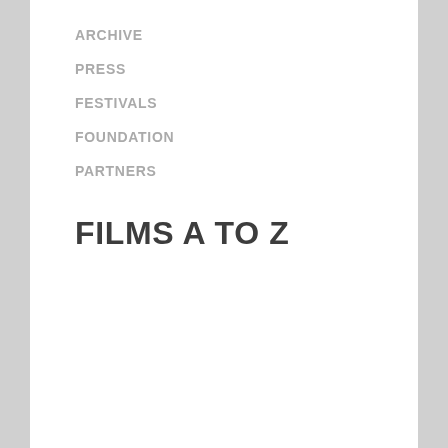ARCHIVE
PRESS
FESTIVALS
FOUNDATION
PARTNERS
FILMS A TO Z